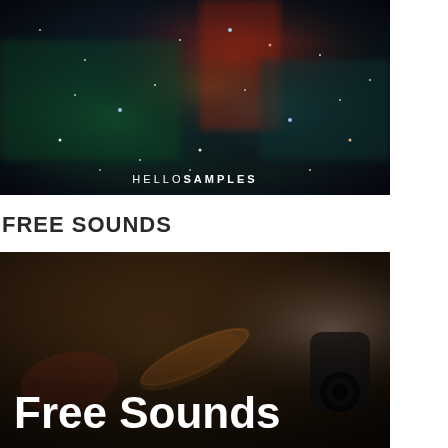[Figure (photo): Space nebula photograph with colorful stars and cosmic dust in blues, greens, reds and yellows against a dark background, with HELLOSAMPLES text at the bottom]
FREE SOUNDS
[Figure (photo): Photograph of decorated Aboriginal-style wooden instruments/artifacts in warm brown tones with a camera or equipment visible at the right edge, with 'Free Sounds' text overlaid at the bottom left]